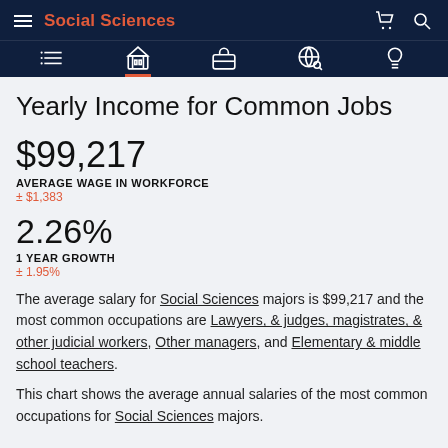Social Sciences
Yearly Income for Common Jobs
$99,217
AVERAGE WAGE IN WORKFORCE
± $1,383
2.26%
1 YEAR GROWTH
± 1.95%
The average salary for Social Sciences majors is $99,217 and the most common occupations are Lawyers, & judges, magistrates, & other judicial workers, Other managers, and Elementary & middle school teachers.
This chart shows the average annual salaries of the most common occupations for Social Sciences majors.